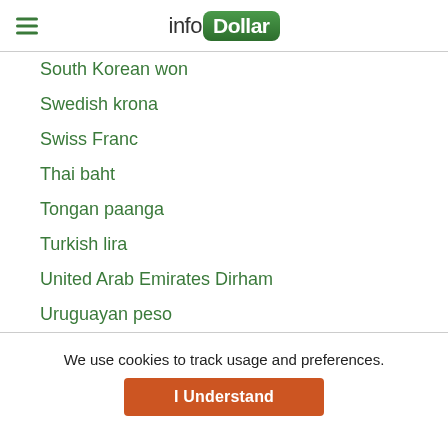infoDollar
South Korean won
Swedish krona
Swiss Franc
Thai baht
Tongan paanga
Turkish lira
United Arab Emirates Dirham
Uruguayan peso
We use cookies to track usage and preferences.
I Understand